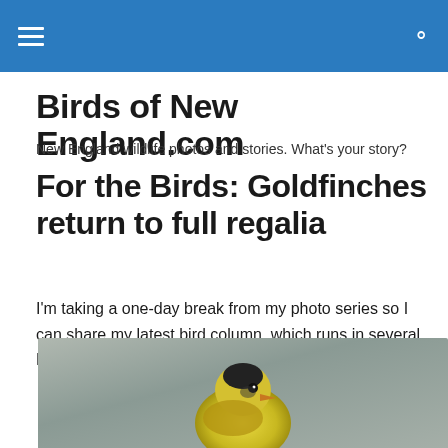Birds of New England.com — navigation header with hamburger menu and search icon
Birds of New England.com
New England wildlife photos and stories. What's your story?
For the Birds: Goldfinches return to full regalia
I'm taking a one-day break from my photo series so I can share my latest bird column, which runs in several New England newspapers. …
[Figure (photo): Close-up photo of a goldfinch bird, showing its yellow plumage and small beak against a blurred gray-green background]